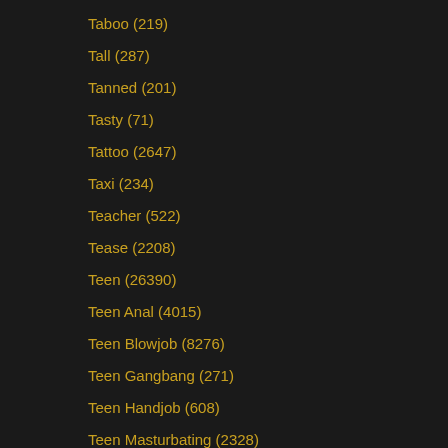Taboo (219)
Tall (287)
Tanned (201)
Tasty (71)
Tattoo (2647)
Taxi (234)
Teacher (522)
Tease (2208)
Teen (26390)
Teen Anal (4015)
Teen Blowjob (8276)
Teen Gangbang (271)
Teen Handjob (608)
Teen Masturbating (2328)
Teen POV (1610)